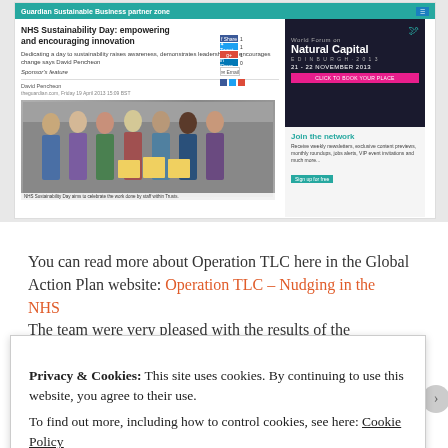[Figure (screenshot): Screenshot of Guardian Sustainable Business partner zone webpage showing an article about NHS Sustainability Day, with social share buttons, a group photo of NHS staff, and a World Forum on Natural Capital advertisement.]
You can read more about Operation TLC here in the Global Action Plan website: Operation TLC – Nudging in the NHS
The team were very pleased with the results of the campaign and
Privacy & Cookies: This site uses cookies. By continuing to use this website, you agree to their use.
To find out more, including how to control cookies, see here: Cookie Policy
Close and accept